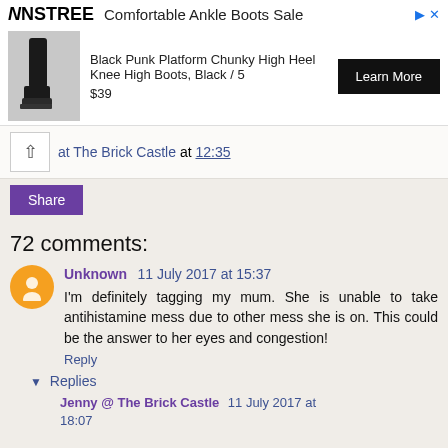[Figure (screenshot): Advertisement banner for NINSTREE Comfortable Ankle Boots Sale showing black knee-high boots, product name 'Black Punk Platform Chunky High Heel Knee High Boots, Black / 5', price $39, and a 'Learn More' button.]
at The Brick Castle at 12:35
Share
72 comments:
Unknown 11 July 2017 at 15:37
I'm definitely tagging my mum. She is unable to take antihistamine mess due to other mess she is on. This could be the answer to her eyes and congestion!
Reply
▾ Replies
Jenny @ The Brick Castle 11 July 2017 at 18:07